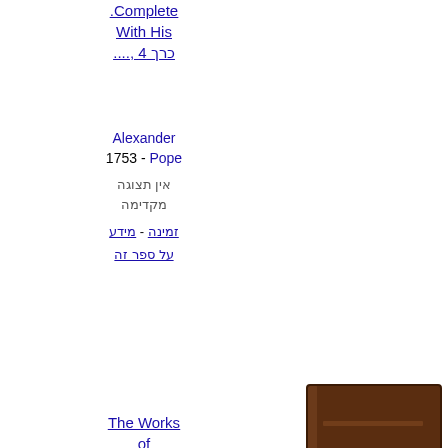כרך 4 ,.... Complete. With His
Alexander
1753 - Pope
אין תצוגה מקדימה
זמינה - מידע | על ספר זה
The Works of Alexander Pope Esq: In Nine Volumes Complete; With His כרך 4 ,....
[Figure (photo): Brown hardcover book thumbnail]
Alexander
- 1751 - Pope
264 דפים
אין תצוגה מקדימה
זמינה - מידע